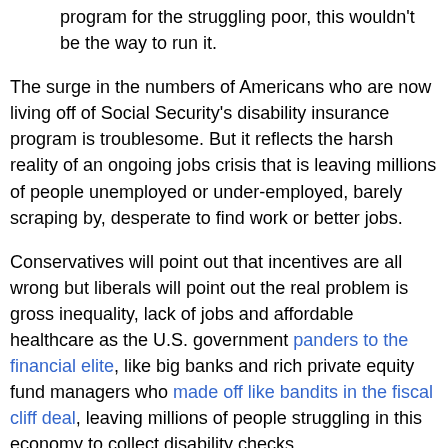program for the struggling poor, this wouldn't be the way to run it.
The surge in the numbers of Americans who are now living off of Social Security's disability insurance program is troublesome. But it reflects the harsh reality of an ongoing jobs crisis that is leaving millions of people unemployed or under-employed, barely scraping by, desperate to find work or better jobs.
Conservatives will point out that incentives are all wrong but liberals will point out the real problem is gross inequality, lack of jobs and affordable healthcare as the U.S. government panders to the financial elite, like big banks and rich private equity fund managers who made off like bandits in the fiscal cliff deal, leaving millions of people struggling in this economy to collect disability checks.
But at least all americans is that to say other Americans...